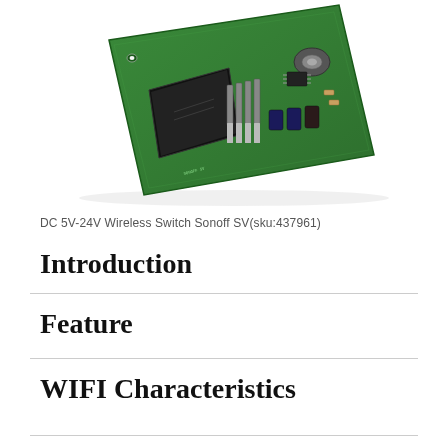[Figure (photo): Green PCB circuit board - DC 5V-24V Wireless Switch Sonoff SV module with relay, capacitors, inductor, and header pins, viewed from an angle on white background]
DC 5V-24V Wireless Switch Sonoff SV(sku:437961)
Introduction
Feature
WIFI Characteristics